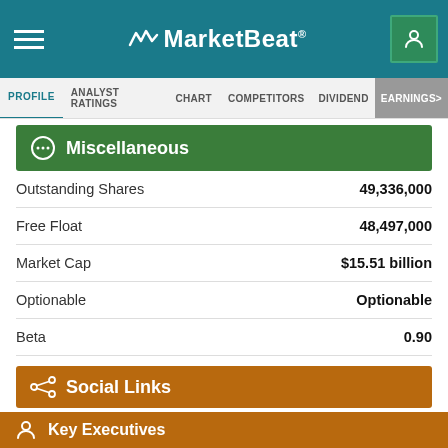MarketBeat
PROFILE  ANALYST RATINGS  CHART  COMPETITORS  DIVIDEND  EARNINGS
Miscellaneous
|  |  |
| --- | --- |
| Outstanding Shares | 49,336,000 |
| Free Float | 48,497,000 |
| Market Cap | $15.51 billion |
| Optionable | Optionable |
| Beta | 0.90 |
Social Links
[Figure (logo): LinkedIn logo icon]
Key Executives